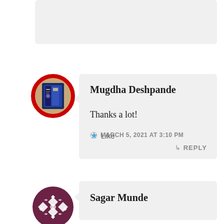MARCH 5, 2021 AT 2:48 PM
REPLY
[Figure (photo): Circular avatar with red border showing a book cover photo]
Mugdha Deshpande
Thanks a lot!
Like
MARCH 5, 2021 AT 3:10 PM
REPLY
[Figure (illustration): Circular avatar with dark maroon geometric/ornamental pattern]
Sagar Munde